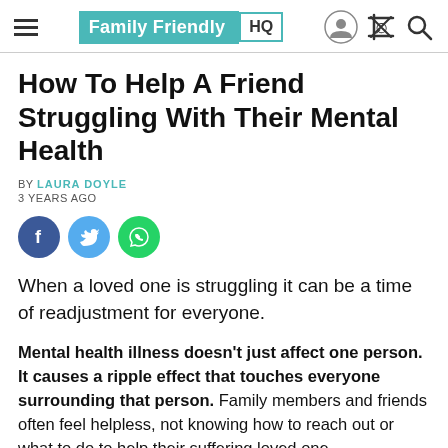Family Friendly HQ
How To Help A Friend Struggling With Their Mental Health
BY LAURA DOYLE
3 YEARS AGO
[Figure (illustration): Social share buttons: Facebook (dark blue circle with f), Twitter (light blue circle with bird icon), WhatsApp (green circle with phone icon)]
When a loved one is struggling it can be a time of readjustment for everyone.
Mental health illness doesn't just affect one person. It causes a ripple effect that touches everyone surrounding that person. Family members and friends often feel helpless, not knowing how to reach out or what to do to help their suffering loved one.